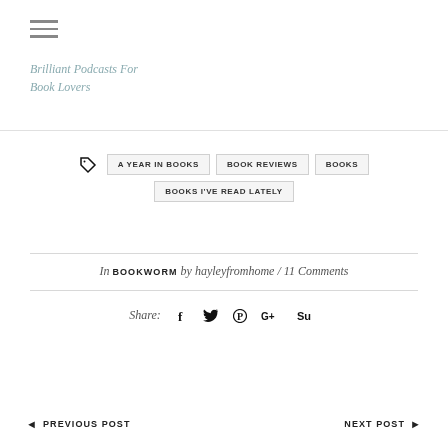[Figure (other): Hamburger menu icon (three horizontal lines)]
Brilliant Podcasts For Book Lovers
A YEAR IN BOOKS
BOOK REVIEWS
BOOKS
BOOKS I'VE READ LATELY
In BOOKWORM by hayleyfromhome / 11 Comments
Share:
◄ PREVIOUS POST
NEXT POST ►